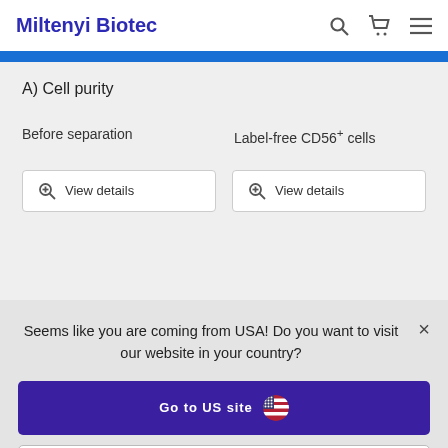Miltenyi Biotec
A) Cell purity
Before separation
Label-free CD56+ cells
View details
View details
Seems like you are coming from USA! Do you want to visit our website in your country?
Go to US site
Stay on Dutch site